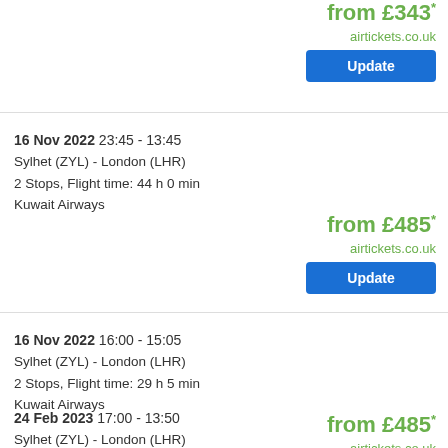from £343* airtickets.co.uk
Update
16 Nov 2022 23:45 - 13:45
Sylhet (ZYL) - London (LHR)
2 Stops, Flight time: 44 h 0 min
Kuwait Airways
from £485* airtickets.co.uk
Update
16 Nov 2022 16:00 - 15:05
Sylhet (ZYL) - London (LHR)
2 Stops, Flight time: 29 h 5 min
Kuwait Airways
from £485* airtickets.co.uk
Update
24 Feb 2023 17:00 - 13:50
Sylhet (ZYL) - London (LHR)